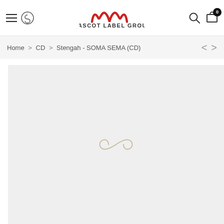Mascot Label Group — Navigation header with hamburger menu, logo, search, and cart (0 items)
Home > CD > Stengah - SOMA SEMA (CD)
[Figure (screenshot): Product image placeholder with light gray background and a faint infinity/alpha-like symbol watermark in the center, representing the album SOMA SEMA by Stengah (CD)]